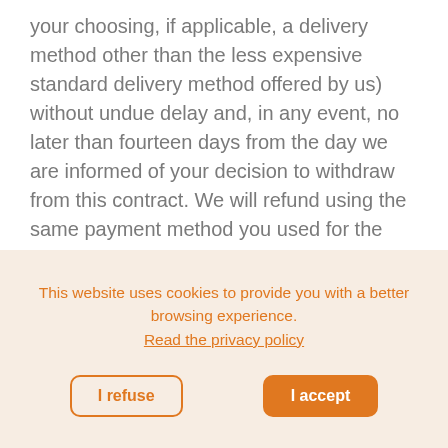your choosing, if applicable, a delivery method other than the less expensive standard delivery method offered by us) without undue delay and, in any event, no later than fourteen days from the day we are informed of your decision to withdraw from this contract. We will refund using the same payment method you used for the initial transaction, unless you expressly agree to a different method; in any case, this reimbursement will not incur costs for you. We may defer reimbursement until we have received the item or until you have provided proof of shipment of the item, whichever is the earlier.
This website uses cookies to provide you with a better browsing experience.
Read the privacy policy
I refuse
I accept